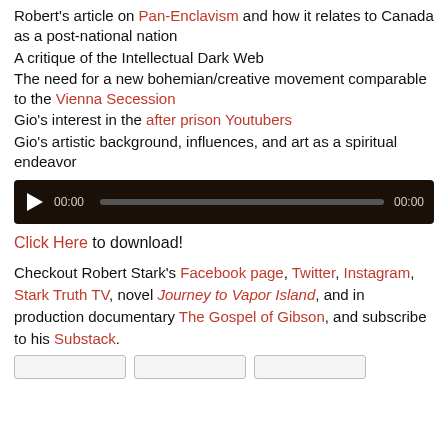Robert's article on Pan-Enclavism and how it relates to Canada as a post-national nation
A critique of the Intellectual Dark Web
The need for a new bohemian/creative movement comparable to the Vienna Secession
Gio's interest in the after prison Youtubers
Gio's artistic background, influences, and art as a spiritual endeavor
[Figure (screenshot): Audio player with play button, 00:00 timestamp, progress bar, and 00:00 end time on dark background]
Click Here to download!
Checkout Robert Stark's Facebook page, Twitter, Instagram, Stark Truth TV, novel Journey to Vapor Island, and in production documentary The Gospel of Gibson, and subscribe to his Substack.
[Figure (screenshot): Three button placeholders at the bottom of the page]